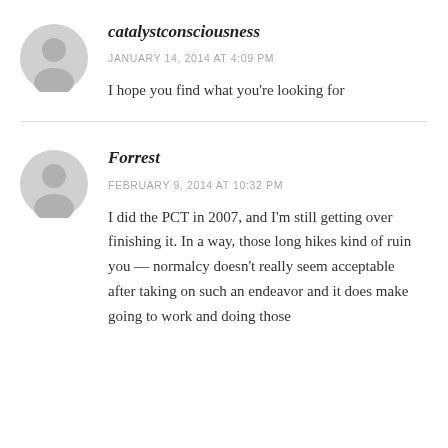[Figure (illustration): Generic user avatar icon - circular gray silhouette of a person]
catalystconsciousness
JANUARY 14, 2014 AT 4:09 PM
I hope you find what you're looking for
[Figure (illustration): Generic user avatar icon - circular gray silhouette of a person]
Forrest
FEBRUARY 9, 2014 AT 10:32 PM
I did the PCT in 2007, and I'm still getting over finishing it. In a way, those long hikes kind of ruin you — normalcy doesn't really seem acceptable after taking on such an endeavor and it does make going to work and doing those